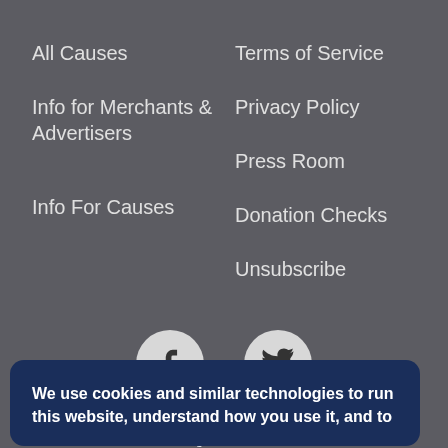All Causes
Info for Merchants & Advertisers
Info For Causes
Terms of Service
Privacy Policy
Press Room
Donation Checks
Unsubscribe
[Figure (illustration): Facebook icon circle and Twitter bird icon circle, social media links]
This site © 1997-2022 iGive.com® Holdings, LLC. All rights reserved.
We use cookies and similar technologies to run this website, understand how you use it, and to